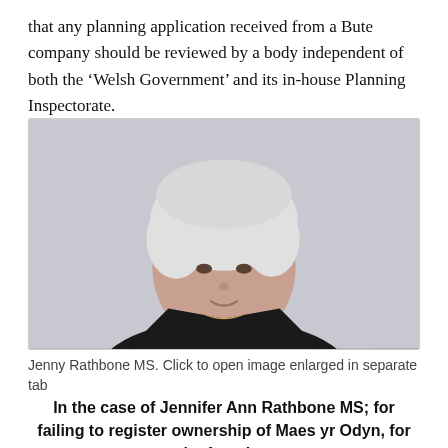that any planning application received from a Bute company should be reviewed by a body independent of both the 'Welsh Government' and its in-house Planning Inspectorate.
[Figure (photo): Portrait photograph of Jenny Rathbone MS, an older woman with short white/grey hair, wearing a dark jacket, against a light grey background.]
Jenny Rathbone MS. Click to open image enlarged in separate tab
In the case of Jennifer Ann Rathbone MS; for failing to register ownership of Maes yr Odyn, for the fear that